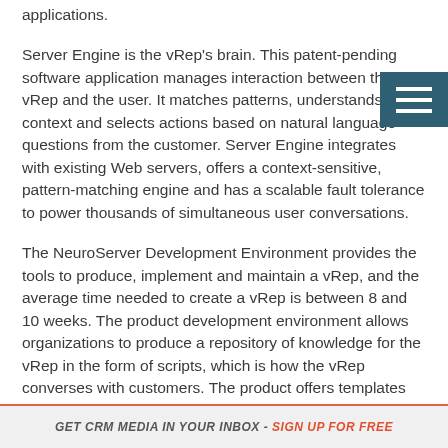applications.
Server Engine is the vRep's brain. This patent-pending software application manages interaction between the vRep and the user. It matches patterns, understands context and selects actions based on natural language questions from the customer. Server Engine integrates with existing Web servers, offers a context-sensitive, pattern-matching engine and has a scalable fault tolerance to power thousands of simultaneous user conversations.
The NeuroServer Development Environment provides the tools to produce, implement and maintain a vRep, and the average time needed to create a vRep is between 8 and 10 weeks. The product development environment allows organizations to produce a repository of knowledge for the vRep in the form of scripts, which is how the vRep converses with customers. The product offers templates for script creation, and the application includes a Contributor Interface, which makes it easy for
GET CRM MEDIA IN YOUR INBOX - SIGN UP FOR FREE